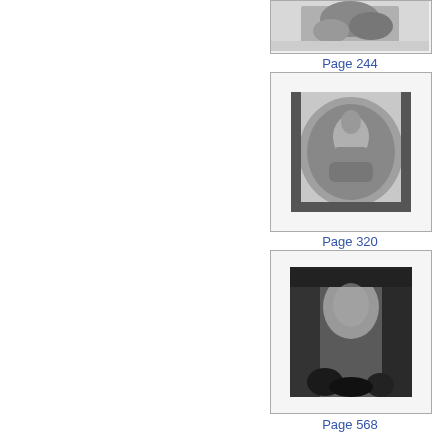[Figure (illustration): Partial view of an engraving/illustration at top, cropped — page 244 thumbnail]
Page 244
[Figure (illustration): Engraving showing a woman seated in an oval vignette, classical style]
Page 320
[Figure (illustration): Dark engraving showing a landscape with a tall rock arch or cave, trees visible at bottom]
Page 568